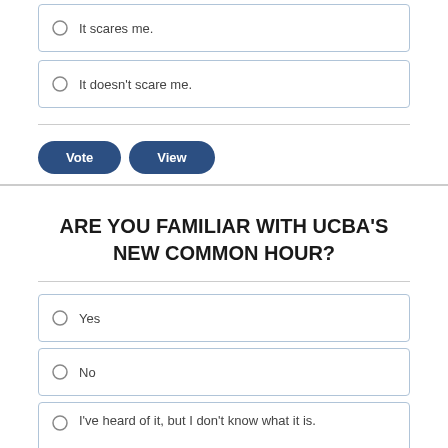It scares me.
It doesn't scare me.
Vote | View
ARE YOU FAMILIAR WITH UCBA'S NEW COMMON HOUR?
Yes
No
I've heard of it, but I don't know what it is.